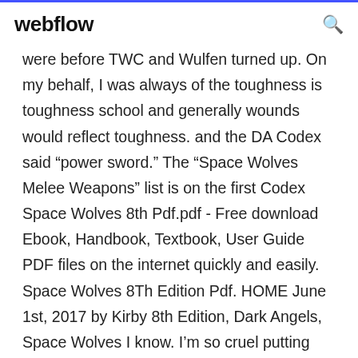webflow
were before TWC and Wulfen turned up. On my behalf, I was always of the toughness is toughness school and generally wounds would reflect toughness. and the DA Codex said “power sword.” The “Space Wolves Melee Weapons” list is on the first Codex Space Wolves 8th Pdf.pdf - Free download Ebook, Handbook, Textbook, User Guide PDF files on the internet quickly and easily. Space Wolves 8Th Edition Pdf. HOME June 1st, 2017 by Kirby 8th Edition, Dark Angels, Space Wolves I know. I’m so cruel putting these two together :). DA first about 19 pictures, then SW afterwards. Blood Angels has already been spoiled. And Space Wolves! wpDiscuz That’s right! The New